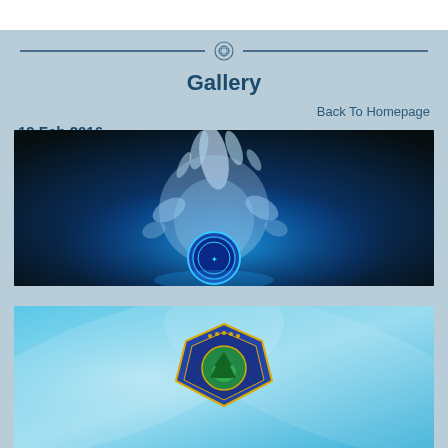Gallery
Back To Homepage
19 Feb 2016
[Figure (photo): Water splash with blue glowing organizational emblem/logo at center bottom, dark background with blue lighting]
[Figure (photo): Organizational badge/crest with green tree emblem in center on blue gradient background with decorative swoosh elements]